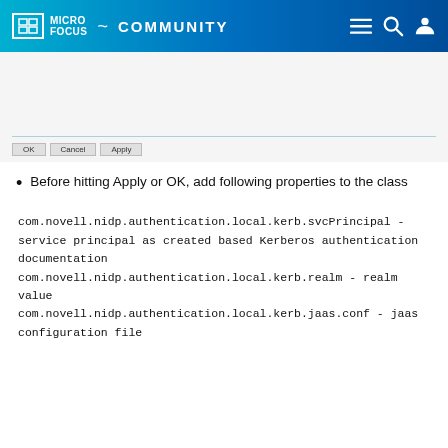MICRO FOCUS COMMUNITY
[Figure (screenshot): Bottom portion of a dialog box showing OK, Cancel, and Apply buttons with a horizontal separator line above them.]
Before hitting Apply or OK, add following properties to the class
com.novell.nidp.authentication.local.kerb.svcPrincipal - service principal as created based Kerberos authentication documentation
com.novell.nidp.authentication.local.kerb.realm - realm value
com.novell.nidp.authentication.local.kerb.jaas.conf - jaas configuration file